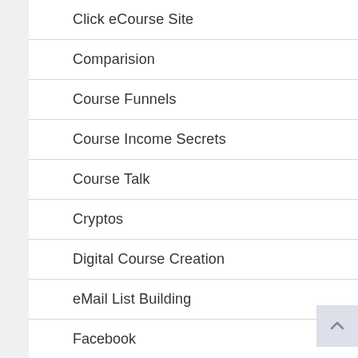Click eCourse Site
Comparision
Course Funnels
Course Income Secrets
Course Talk
Cryptos
Digital Course Creation
eMail List Building
Facebook